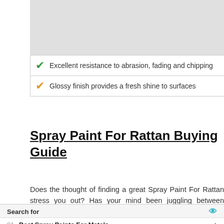[Figure (other): Grey placeholder image box at top]
Excellent resistance to abrasion, fading and chipping
Glossy finish provides a fresh shine to surfaces
Spray Paint For Rattan Buying Guide
Does the thought of finding a great Spray Paint For Rattan stress you out? Has your mind been juggling between choices when it comes to buying Spray Paint For Rattan in general,
Search for
01. Best Spray Paints For Metals
02. Power Paint Sprayer
Yahoo! Search | Sponsored